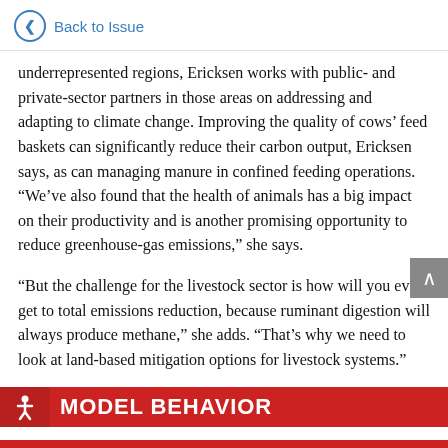Back to Issue
underrepresented regions, Ericksen works with public- and private-sector partners in those areas on addressing and adapting to climate change. Improving the quality of cows' feed baskets can significantly reduce their carbon output, Ericksen says, as can managing manure in confined feeding operations. “We’ve also found that the health of animals has a big impact on their productivity and is another promising opportunity to reduce greenhouse-gas emissions,” she says.
“But the challenge for the livestock sector is how will you ever get to total emissions reduction, because ruminant digestion will always produce methane,” she adds. “That’s why we need to look at land-based mitigation options for livestock systems.”
MODEL BEHAVIOR
The Paris Agreement of 2015 brought the world together in a unified front to confront the challenges of climate change.
ets for reducing